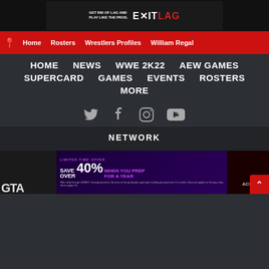[Figure (other): ExitLag advertisement banner: GET RID OF LAG AND PLAY LIKE THE PROS. EXITLAG logo]
Home | Rosters | Wrestlers Profiles | William Regal
HOME
NEWS
WWE 2K22
AEW GAMES
SUPERCARD
GAMES
EVENTS
ROSTERS
MORE
[Figure (other): Social media icons: Twitter, Facebook, Instagram, YouTube]
NETWORK
[Figure (other): Bottom banner ads: GTA logo on left, Limited-time offer Save Over 40% When You Prep For A Year promo in center, Smackdown logo on right with scroll-to-top button]